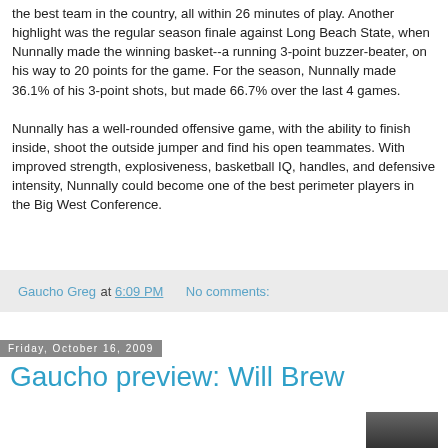the best team in the country, all within 26 minutes of play. Another highlight was the regular season finale against Long Beach State, when Nunnally made the winning basket--a running 3-point buzzer-beater, on his way to 20 points for the game. For the season, Nunnally made 36.1% of his 3-point shots, but made 66.7% over the last 4 games.

Nunnally has a well-rounded offensive game, with the ability to finish inside, shoot the outside jumper and find his open teammates. With improved strength, explosiveness, basketball IQ, handles, and defensive intensity, Nunnally could become one of the best perimeter players in the Big West Conference.
Gaucho Greg at 6:09 PM   No comments:
Friday, October 16, 2009
Gaucho preview: Will Brew
[Figure (photo): Partial thumbnail photo of a person, visible at bottom right of the page]